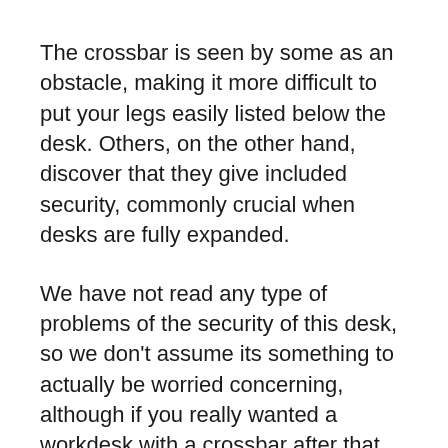The crossbar is seen by some as an obstacle, making it more difficult to put your legs easily listed below the desk. Others, on the other hand, discover that they give included security, commonly crucial when desks are fully expanded.
We have not read any type of problems of the security of this desk, so we don’t assume its something to actually be worried concerning, although if you really wanted a workdesk with a crossbar after that we recommend you take a look at the Varidesk ProDesk 60 Electric.
Additionally, StandDesk does use a different add-on crossbar that you can contribute to